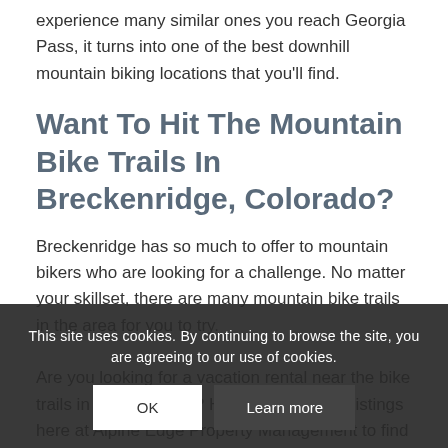experience many similar ones you reach Georgia Pass, it turns into one of the best downhill mountain biking locations that you'll find.
Want To Hit The Mountain Bike Trails In Breckenridge, Colorado?
Breckenridge has so much to offer to mountain bikers who are looking for a challenge. No matter your skillset, there are many mountain bike trails in the area for you to try.
Are you looking for a vacation rental near the bike trails in Breckenridge? Have a look at our listings here at Alpine Edge Property Management to find the one that's right for you!
This site uses cookies. By continuing to browse the site, you are agreeing to our use of cookies.